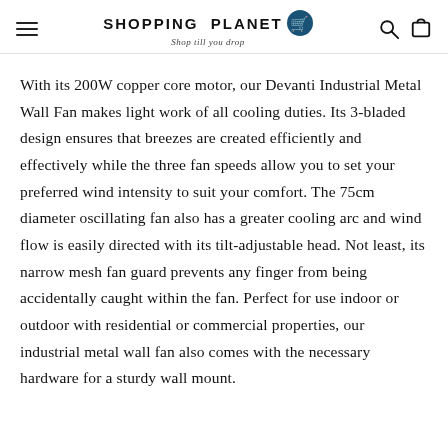SHOPPING PLANET — Shop till you drop
With its 200W copper core motor, our Devanti Industrial Metal Wall Fan makes light work of all cooling duties. Its 3-bladed design ensures that breezes are created efficiently and effectively while the three fan speeds allow you to set your preferred wind intensity to suit your comfort. The 75cm diameter oscillating fan also has a greater cooling arc and wind flow is easily directed with its tilt-adjustable head. Not least, its narrow mesh fan guard prevents any finger from being accidentally caught within the fan. Perfect for use indoor or outdoor with residential or commercial properties, our industrial metal wall fan also comes with the necessary hardware for a sturdy wall mount.